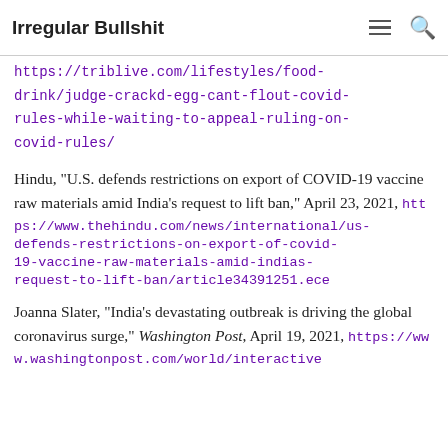Irregular Bullshit
covid rules while waiting to appeal ruling," Pittsburgh Tribune-Review, April 21, 2021, https://triblive.com/lifestyles/food-drink/judge-crackd-egg-cant-flout-covid-rules-while-waiting-to-appeal-ruling-on-covid-rules/
Hindu, “U.S. defends restrictions on export of COVID-19 vaccine raw materials amid India’s request to lift ban,” April 23, 2021, https://www.thehindu.com/news/international/us-defends-restrictions-on-export-of-covid-19-vaccine-raw-materials-amid-indias-request-to-lift-ban/article34391251.ece
Joanna Slater, “India’s devastating outbreak is driving the global coronavirus surge,” Washington Post, April 19, 2021, https://www.washingtonpost.com/world/interactive